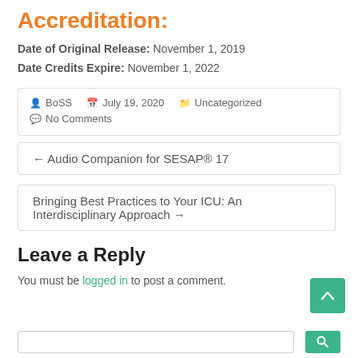Accreditation:
Date of Original Release: November 1, 2019
Date Credits Expire: November 1, 2022
BoSS  July 19, 2020  Uncategorized  No Comments
← Audio Companion for SESAP® 17
Bringing Best Practices to Your ICU: An Interdisciplinary Approach →
Leave a Reply
You must be logged in to post a comment.